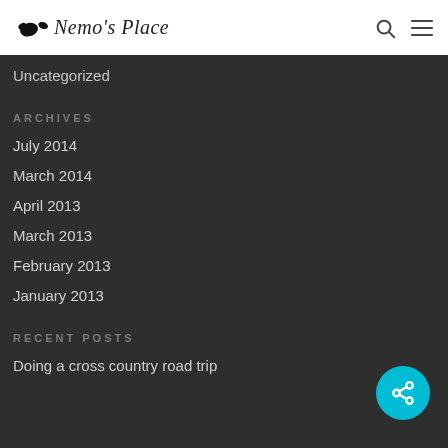Nemo's Place
Uncategorized
ARCHIVES
July 2014
March 2014
April 2013
March 2013
February 2013
January 2013
RECENT POSTS
Doing a cross country road trip